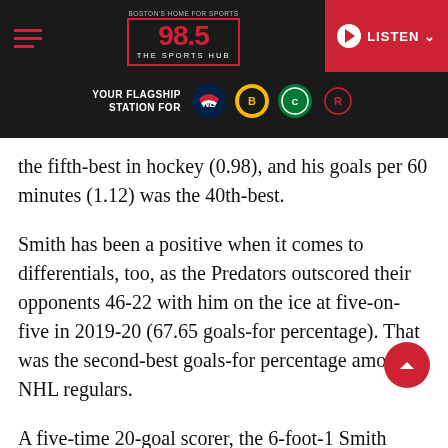98.5 The Sports Hub — YOUR FLAGSHIP STATION FOR [Patriots, Bruins, Celtics, Revolution logos]
the fifth-best in hockey (0.98), and his goals per 60 minutes (1.12) was the 40th-best.
Smith has been a positive when it comes to differentials, too, as the Predators outscored their opponents 46-22 with him on the ice at five-on-five in 2019-20 (67.65 goals-for percentage). That was the second-best goals-for percentage among NHL regulars.
A five-time 20-goal scorer, the 6-foot-1 Smith